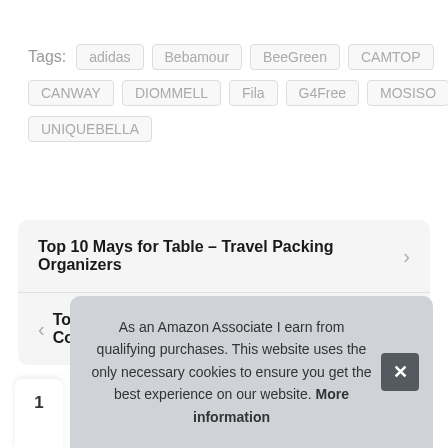Tags: adidas Bebamour BeeGreen CAMTOP CANWAY DIOMMELL Fila G4Free MOSISO UNIQUEBELLA
Top 10 Mays for Table – Travel Packing Organizers
Top 10 Salve Glass Jars with Lids – Refillable Cos...
As an Amazon Associate I earn from qualifying purchases. This website uses the only necessary cookies to ensure you get the best experience on our website. More information